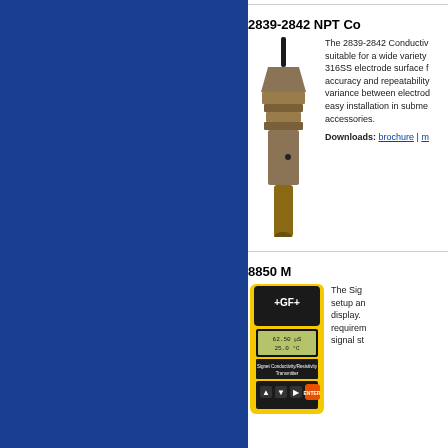[Figure (photo): Blue sidebar column on left side of page]
2839-2842 NPT Co...
[Figure (photo): Photo of a 2839-2842 NPT conductivity electrode probe in brass/gold finish with cylindrical body and cable]
The 2839-2842 Conductivity electrode is suitable for a wide variety ... 316SS electrode surface f... accuracy and repeatability... variance between electrod... easy installation in subme... accessories.
Downloads: brochure | m...
8850 ...
[Figure (photo): Photo of a yellow Signet Conductivity/Resistivity Transmitter 8850 with +GF+ branding, LCD display showing 62.50 uS and 25.0 C, and navigation buttons]
The Sig... setup an... display... requirem... signal st...